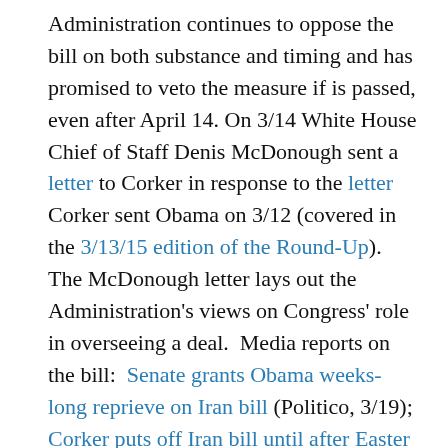Administration continues to oppose the bill on both substance and timing and has promised to veto the measure if is passed, even after April 14. On 3/14 White House Chief of Staff Denis McDonough sent a letter to Corker in response to the letter Corker sent Obama on 3/12 (covered in the 3/13/15 edition of the Round-Up). The McDonough letter lays out the Administration's views on Congress' role in overseeing a deal. Media reports on the bill: Senate grants Obama weeks-long reprieve on Iran bill (Politico, 3/19); Corker puts off Iran bill until after Easter recess (Washington Examiner, 3/19); Senators Agree To Delay Committee Vote On Iran Bill (Reuters 3/19).
APN STRONGLY OPPOSES S. 615 AND URGES SENATORS TO REFUSE TO COSPONSOR IT OR